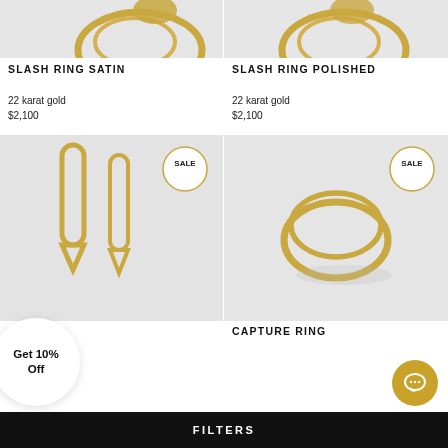[Figure (photo): Partial top view of gold ring on light background - Slash Ring Satin]
[Figure (photo): Partial top view of gold ring on light background - Slash Ring Polished]
SLASH RING SATIN
22 karat gold
$2,100
SLASH RING POLISHED
22 karat gold
$2,100
[Figure (photo): Two gold elongated angular earrings on grey background with SALE badge]
[Figure (photo): Gold double coil capture ring on white marble background with SALE badge]
CAPTURE RING
Get 10% Off
FILTERS